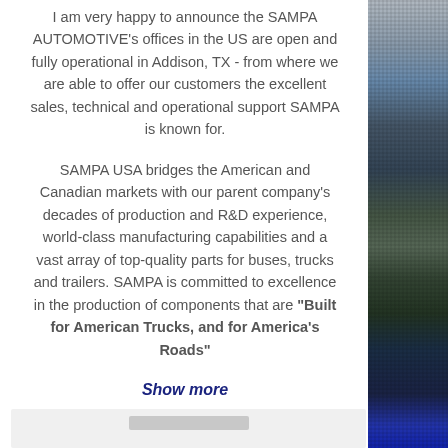I am very happy to announce the SAMPA AUTOMOTIVE's offices in the US are open and fully operational in Addison, TX - from where we are able to offer our customers the excellent sales, technical and operational support SAMPA is known for.
SAMPA USA bridges the American and Canadian markets with our parent company's decades of production and R&D experience, world-class manufacturing capabilities and a vast array of top-quality parts for buses, trucks and trailers. SAMPA is committed to excellence in the production of components that are "Built for American Trucks, and for America's Roads"
Show more
[Figure (photo): Partial view of a mountain/forest landscape photo on the right side, with a blue banner visible at the bottom right]
[Figure (other): Gray placeholder box at the bottom of the page]